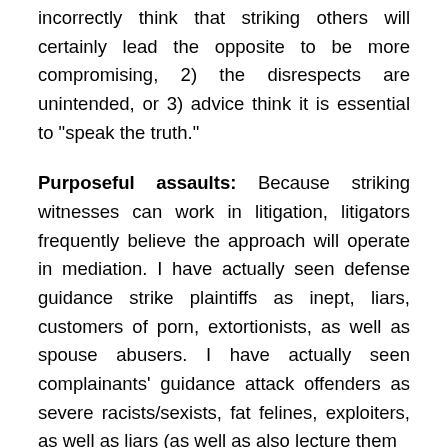incorrectly think that striking others will certainly lead the opposite to be more compromising, 2) the disrespects are unintended, or 3) advice think it is essential to "speak the truth."
Purposeful assaults: Because striking witnesses can work in litigation, litigators frequently believe the approach will operate in mediation. I have actually seen defense guidance strike plaintiffs as inept, liars, customers of porn, extortionists, as well as spouse abusers. I have actually seen complainants' guidance attack offenders as severe racists/sexists, fat felines, exploiters, as well as liars (as well as also lecture them